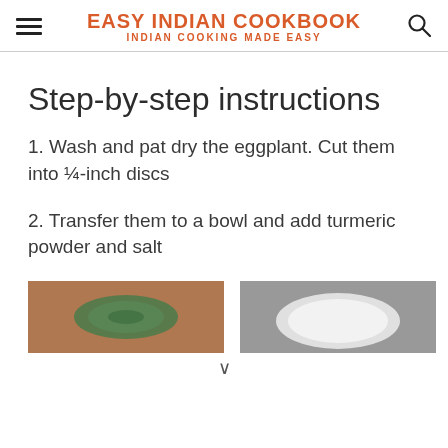EASY INDIAN COOKBOOK
INDIAN COOKING MADE EASY
Step-by-step instructions
1. Wash and pat dry the eggplant. Cut them into ¼-inch discs
2. Transfer them to a bowl and add turmeric powder and salt
[Figure (photo): Eggplant discs on a wooden cutting board]
[Figure (photo): Bowl with eggplant and white powders on dark surface]